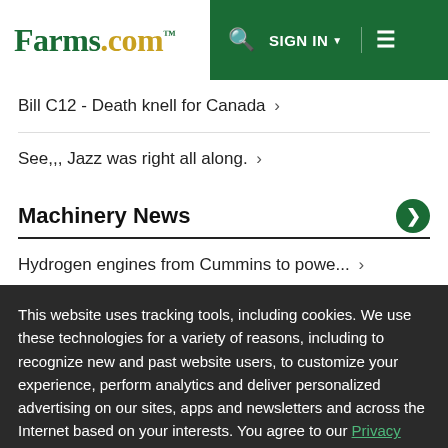Farms.com — SIGN IN — menu
Bill C12 - Death knell for Canada ›
See,,, Jazz was right all along. ›
Machinery News
Hydrogen engines from Cummins to powe... ›
This website uses tracking tools, including cookies. We use these technologies for a variety of reasons, including to recognize new and past website users, to customize your experience, perform analytics and deliver personalized advertising on our sites, apps and newsletters and across the Internet based on your interests. You agree to our Privacy Policy and Terms of Access by clicking I agree.